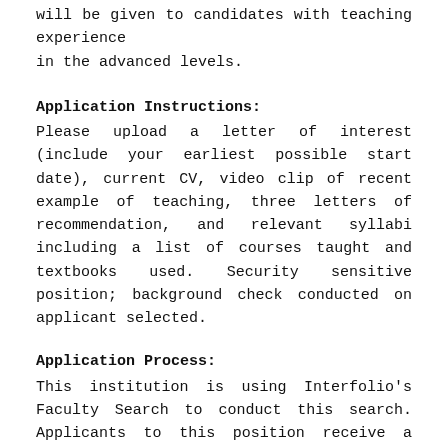will be given to candidates with teaching experience in the advanced levels.
Application Instructions:
Please upload a letter of interest (include your earliest possible start date), current CV, video clip of recent example of teaching, three letters of recommendation, and relevant syllabi including a list of courses taught and textbooks used. Security sensitive position; background check conducted on applicant selected.
Application Process:
This institution is using Interfolio's Faculty Search to conduct this search. Applicants to this position receive a free Dossier account and can send all application materials, including confidential letters of recommendation, free of charge.
Apply Here: https://apply.interfolio.com/63716